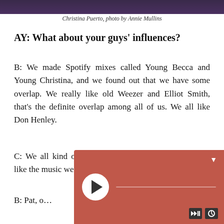[Figure (photo): Dark-toned image strip at top of page]
Christina Puerto, photo by Annie Mullins
AY: What about your guys’ influences?
B: We made Spotify mixes called Young Becca and Young Christina, and we found out that we have some overlap. We really like old Weezer and Elliot Smith, that’s the definite overlap among all of us. We all like Don Henley.
C: We all kind of have different musical backgrounds, like the music we listened to growing up…
B: Pat, o…
[Figure (other): Audio player overlay with play button, progress bar, dropdown arrow, and audio controls]